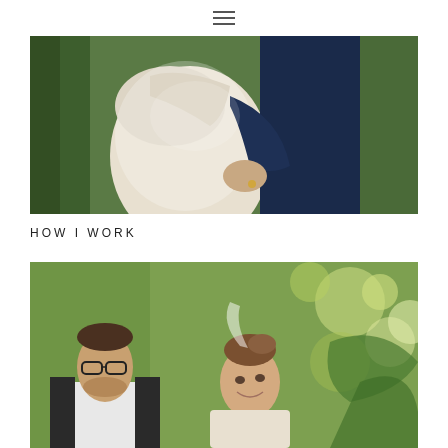≡ (hamburger menu icon)
[Figure (photo): Wedding couple embracing outdoors among green ferns. Bride in white lace dress with long sleeves, groom in navy blue suit. Close-up torso shot showing the couple hugging.]
HOW I WORK
[Figure (photo): Wedding couple smiling at each other outdoors with blurred green bokeh background. Man with glasses and beard in white shirt, woman with updo and veil smiling.]